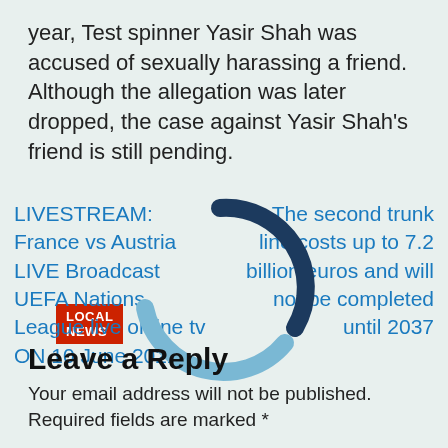year, Test spinner Yasir Shah was accused of sexually harassing a friend. Although the allegation was later dropped, the case against Yasir Shah's friend is still pending.
LOCAL NEWS
LIVESTREAM: France vs Austria LIVE Broadcast UEFA Nations League live online tv ON 10 June 2022
The second trunk line costs up to 7.2 billion euros and will not be completed until 2037
[Figure (other): A circular loading spinner graphic overlaid on the two-column link area, dark blue on top curving arc and lighter blue on the bottom.]
Leave a Reply
Your email address will not be published. Required fields are marked *